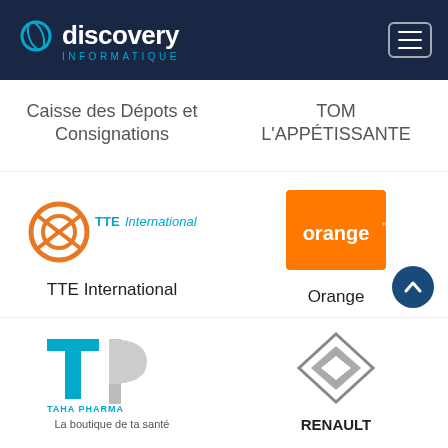discovery INFORMATIQUE
Caisse des Dépots et Consignations
TOM L'APPÉTISSANTE
[Figure (logo): TTE International logo with orange circular icon and teal text]
TTE International
[Figure (logo): Orange telecom logo — orange square with white 'orange™' text]
Orange
[Figure (logo): Taha Pharma logo with teal T and grey P letters]
Taha Pharma
[Figure (logo): Renault diamond logo in grey/silver]
RENAULT